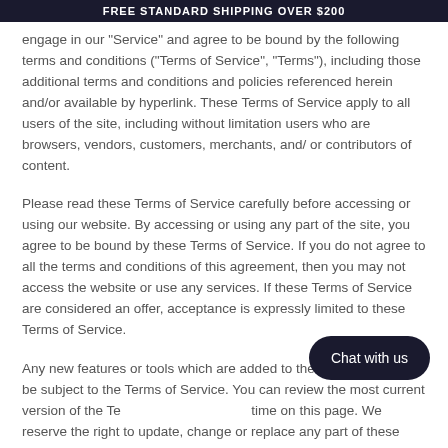FREE STANDARD SHIPPING OVER $200
engage in our “Service” and agree to be bound by the following terms and conditions (“Terms of Service”, “Terms”), including those additional terms and conditions and policies referenced herein and/or available by hyperlink. These Terms of Service apply to all users of the site, including without limitation users who are browsers, vendors, customers, merchants, and/ or contributors of content.
Please read these Terms of Service carefully before accessing or using our website. By accessing or using any part of the site, you agree to be bound by these Terms of Service. If you do not agree to all the terms and conditions of this agreement, then you may not access the website or use any services. If these Terms of Service are considered an offer, acceptance is expressly limited to these Terms of Service.
Any new features or tools which are added to the store shall also be subject to the Terms of Service. You can review the most current version of the Terms of Service at any time on this page. We reserve the right to update, change or replace any part of these Terms of Service by posting updates